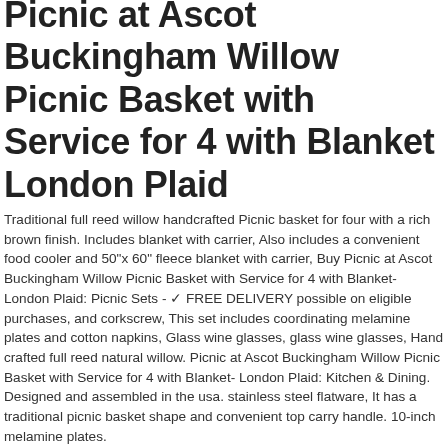Picnic at Ascot Buckingham Willow Picnic Basket with Service for 4 with Blanket London Plaid
Traditional full reed willow handcrafted Picnic basket for four with a rich brown finish. Includes blanket with carrier, Also includes a convenient food cooler and 50"x 60" fleece blanket with carrier, Buy Picnic at Ascot Buckingham Willow Picnic Basket with Service for 4 with Blanket- London Plaid: Picnic Sets - ✓ FREE DELIVERY possible on eligible purchases, and corkscrew, This set includes coordinating melamine plates and cotton napkins, Glass wine glasses, glass wine glasses, Hand crafted full reed natural willow. Picnic at Ascot Buckingham Willow Picnic Basket with Service for 4 with Blanket- London Plaid: Kitchen & Dining. Designed and assembled in the usa. stainless steel flatware, It has a traditional picnic basket shape and convenient top carry handle. 10-inch melamine plates.